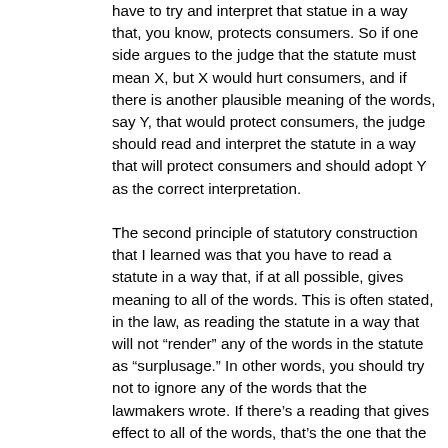have to try and interpret that statue in a way that, you know, protects consumers. So if one side argues to the judge that the statute must mean X, but X would hurt consumers, and if there is another plausible meaning of the words, say Y, that would protect consumers, the judge should read and interpret the statute in a way that will protect consumers and should adopt Y as the correct interpretation.
The second principle of statutory construction that I learned was that you have to read a statute in a way that, if at all possible, gives meaning to all of the words. This is often stated, in the law, as reading the statute in a way that will not “render” any of the words in the statute as “surplusage.” In other words, you should try not to ignore any of the words that the lawmakers wrote. If there’s a reading that gives effect to all of the words, that’s the one that the judge should select, over a reading that would ignore some of those words.